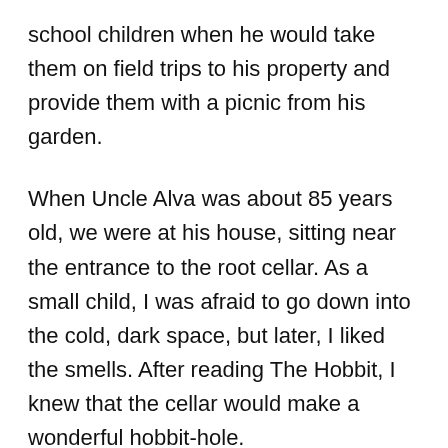school children when he would take them on field trips to his property and provide them with a picnic from his garden.
When Uncle Alva was about 85 years old, we were at his house, sitting near the entrance to the root cellar. As a small child, I was afraid to go down into the cold, dark space, but later, I liked the smells. After reading The Hobbit, I knew that the cellar would make a wonderful hobbit-hole.
Produce from the summer was stored for us in the fall and winter months. Shelves had jams, jellies,